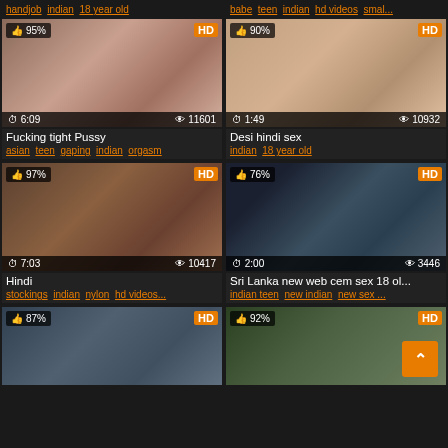[Figure (screenshot): Video thumbnail grid showing adult video website with 6 visible video cards in a 2-column layout. Each card has a thumbnail image, HD badge, like percentage, duration, view count, title, and tags.]
handjob indian 18 year old
babe teen indian hd videos smal...
Fucking tight Pussy
asian teen gaping indian orgasm
Desi hindi sex
indian 18 year old
Hindi
stockings indian nylon hd videos...
Sri Lanka new web cem sex 18 ol...
indian teen new indian new sex ...